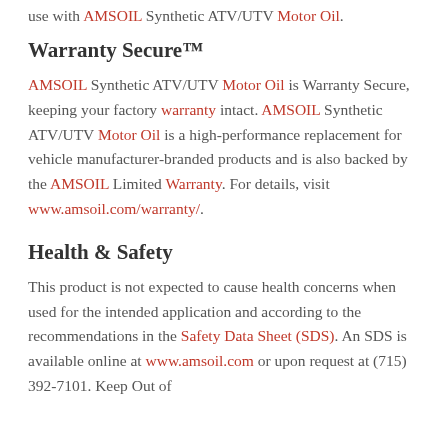use with AMSOIL Synthetic ATV/UTV Motor Oil.
Warranty Secure™
AMSOIL Synthetic ATV/UTV Motor Oil is Warranty Secure, keeping your factory warranty intact. AMSOIL Synthetic ATV/UTV Motor Oil is a high-performance replacement for vehicle manufacturer-branded products and is also backed by the AMSOIL Limited Warranty. For details, visit www.amsoil.com/warranty/.
Health & Safety
This product is not expected to cause health concerns when used for the intended application and according to the recommendations in the Safety Data Sheet (SDS). An SDS is available online at www.amsoil.com or upon request at (715) 392-7101. Keep Out of